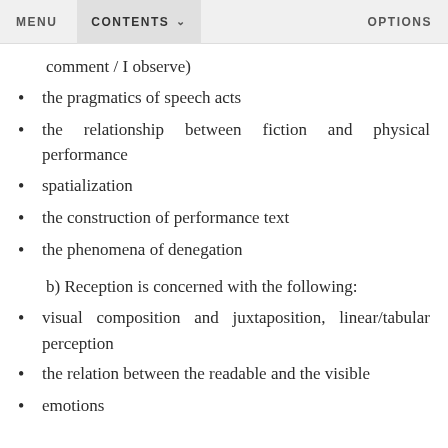MENU   CONTENTS ∨   OPTIONS
comment / I observe)
the pragmatics of speech acts
the relationship between fiction and physical performance
spatialization
the construction of performance text
the phenomena of denegation
b) Reception is concerned with the following:
visual composition and juxtaposition, linear/tabular perception
the relation between the readable and the visible
emotions